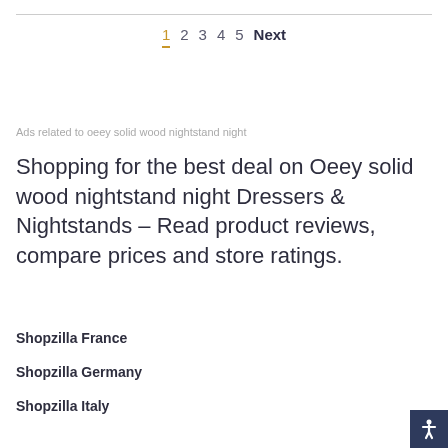1 2 3 4 5 Next
Ads related to oeey solid wood nightstand night
Shopping for the best deal on Oeey solid wood nightstand night Dressers & Nightstands – Read product reviews, compare prices and store ratings.
Shopzilla France
Shopzilla Germany
Shopzilla Italy